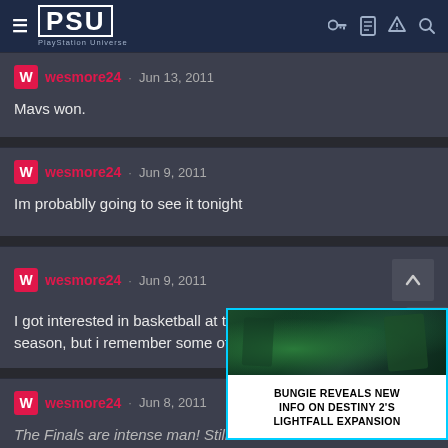PSU PlayStation Universe
wesmore24 · Jun 13, 2011
Mavs won.
wesmore24 · Jun 9, 2011
Im probablly going to see it tonight
wesmore24 · Jun 9, 2011
I got interested in basketball at the end of the 2006 season, but i remember some of the games.
[Figure (screenshot): Ad overlay showing BUNGIE REVEALS NEW INFO ON DESTINY 2'S LIGHTFALL EXPANSION with dark green game image]
wesmore24 · Jun 8, 2011
The Finals are intense man! Still not la...